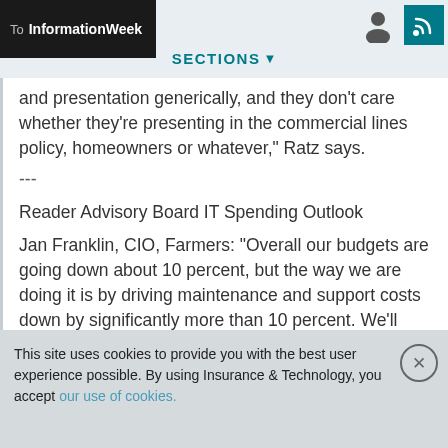To InformationWeek
and presentation generically, and they don't care whether they're presenting in the commercial lines policy, homeowners or whatever," Ratz says.
---
Reader Advisory Board IT Spending Outlook
Jan Franklin, CIO, Farmers: "Overall our budgets are going down about 10 percent, but the way we are doing it is by driving maintenance and support costs down by significantly more than 10 percent. We'll actually see an increase in our strategic projects."
This site uses cookies to provide you with the best user experience possible. By using Insurance & Technology, you accept our use of cookies.